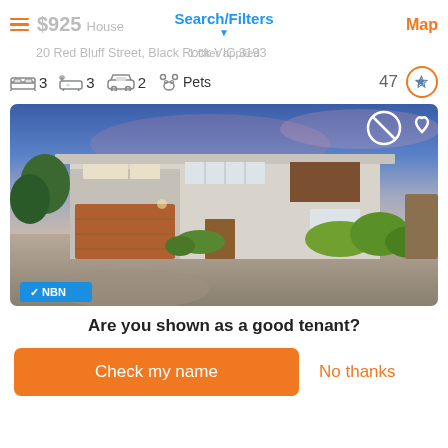$925  House  Search/Filters  Map
20 Red Bluff Street, Black Rock VIC 3193  1 filter applied
3 bedrooms  3 bathrooms  2 car spaces  Pets  47 saved
[Figure (photo): Exterior photo of a modern two-storey house with flat roof, double garage with timber door, landscaped garden, at dusk. NBN badge visible bottom left. Shortlist/heart icons top right.]
Are you shown as a good tenant?
Check my name  No thanks